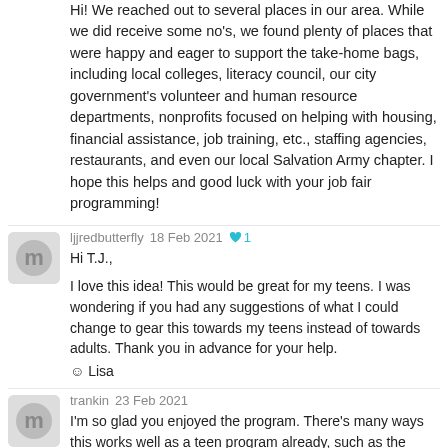Hi! We reached out to several places in our area. While we did receive some no's, we found plenty of places that were happy and eager to support the take-home bags, including local colleges, literacy council, our city government's volunteer and human resource departments, nonprofits focused on helping with housing, financial assistance, job training, etc., staffing agencies, restaurants, and even our local Salvation Army chapter. I hope this helps and good luck with your job fair programming!
ljjredbutterfly  18 Feb 2021  ♥ 1
Hi T.J.,

I love this idea! This would be great for my teens. I was wondering if you had any suggestions of what I could change to gear this towards my teens instead of towards adults. Thank you in advance for your help.
☺ Lisa
trankin  23 Feb 2021
I'm so glad you enjoyed the program. There's many ways this works well as a teen program already, such as the "What to Wear" and "Resume Worksheet". You may even include a list of "Job Interview Do's and Don'ts" given that many of them may be going to a job interview for the first time. Find places that are popular hiring spots for teens in your town, and maybe collaborate with them, listing out some of their...